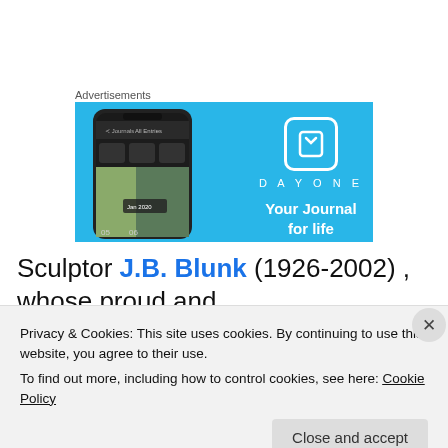Advertisements
[Figure (screenshot): DayOne app advertisement banner with light blue background showing an iPhone with the DayOne journal app interface, the DayOne logo and name, and tagline 'Your Journal for life']
Sculptor J.B. Blunk (1926-2002) , whose proud and massive carved redwood chair(1978) is also on display
Privacy & Cookies: This site uses cookies. By continuing to use this website, you agree to their use.
To find out more, including how to control cookies, see here: Cookie Policy
Close and accept